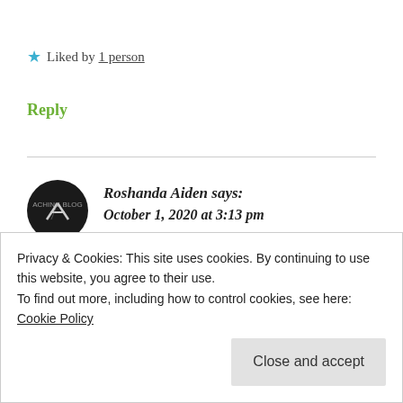★ Liked by 1 person
Reply
[Figure (illustration): Circular black avatar with stylized 'VA' logo for Roshanda Aiden]
Roshanda Aiden says: October 1, 2020 at 3:13 pm
Congratulations on your nomination! Yes I feel the same not trying to be hungry in 2020. Thank
Privacy & Cookies: This site uses cookies. By continuing to use this website, you agree to their use.
To find out more, including how to control cookies, see here: Cookie Policy
Close and accept